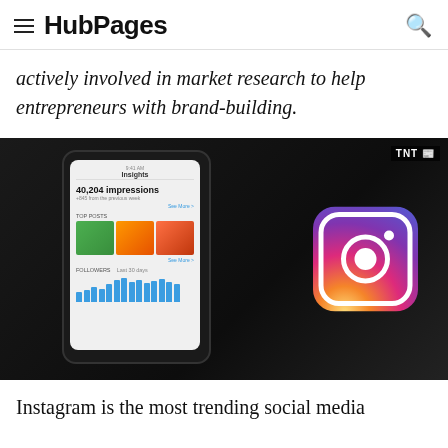HubPages
actively involved in market research to help entrepreneurs with brand-building.
[Figure (photo): A hand holding a smartphone displaying Instagram Insights analytics (40,204 impressions, top posts, followers chart), with the Instagram logo visible on the right against a dark background. TNT watermark in top right corner.]
Instagram is the most trending social media